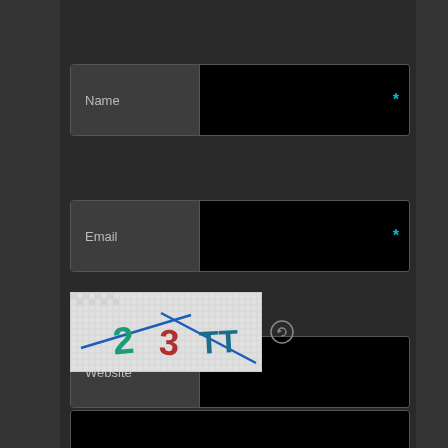[Figure (screenshot): Web form with Name field (required, cyan asterisk), Email field (required, cyan asterisk), Website field, CAPTCHA image showing characters '2 3 TT' with diagonal blue lines on woven background, refresh icon, and a bottom text area input.]